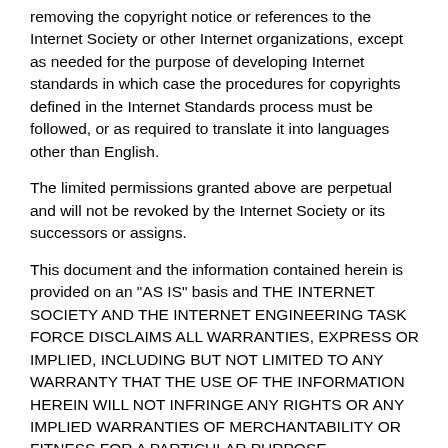removing the copyright notice or references to the Internet Society or other Internet organizations, except as needed for the purpose of developing Internet standards in which case the procedures for copyrights defined in the Internet Standards process must be followed, or as required to translate it into languages other than English.
The limited permissions granted above are perpetual and will not be revoked by the Internet Society or its successors or assigns.
This document and the information contained herein is provided on an "AS IS" basis and THE INTERNET SOCIETY AND THE INTERNET ENGINEERING TASK FORCE DISCLAIMS ALL WARRANTIES, EXPRESS OR IMPLIED, INCLUDING BUT NOT LIMITED TO ANY WARRANTY THAT THE USE OF THE INFORMATION HEREIN WILL NOT INFRINGE ANY RIGHTS OR ANY IMPLIED WARRANTIES OF MERCHANTABILITY OR FITNESS FOR A PARTICULAR PURPOSE.